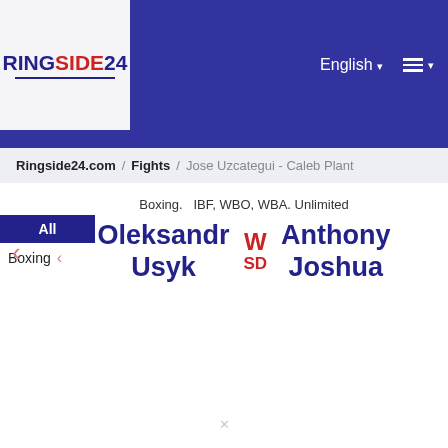[Figure (logo): RINGSIDE24 logo with blue and red text on light gray background]
English ▾  ☰ ▾
Ringside24.com / Fights / Jose Uzcategui - Caleb Plant
Boxing. IBF, WBO, WBA. Unlimited
Oleksandr Usyk W SD Anthony Joshua
All
Boxing